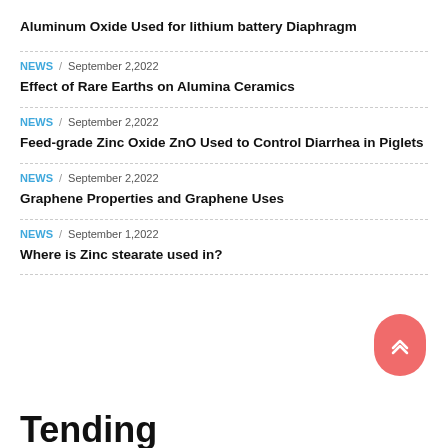Aluminum Oxide Used for lithium battery Diaphragm
NEWS / September 2,2022
Effect of Rare Earths on Alumina Ceramics
NEWS / September 2,2022
Feed-grade Zinc Oxide ZnO Used to Control Diarrhea in Piglets
NEWS / September 2,2022
Graphene Properties and Graphene Uses
NEWS / September 1,2022
Where is Zinc stearate used in?
Tending